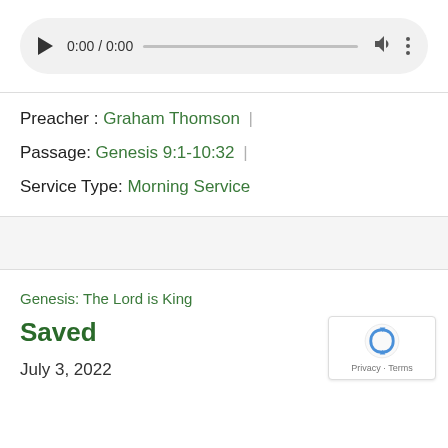[Figure (screenshot): Audio player widget with play button, time display 0:00 / 0:00, progress bar, volume icon, and more options icon, styled with rounded pill shape on gray background]
Preacher : Graham Thomson |
Passage: Genesis 9:1-10:32 |
Service Type: Morning Service
Genesis: The Lord is King
Saved
July 3, 2022